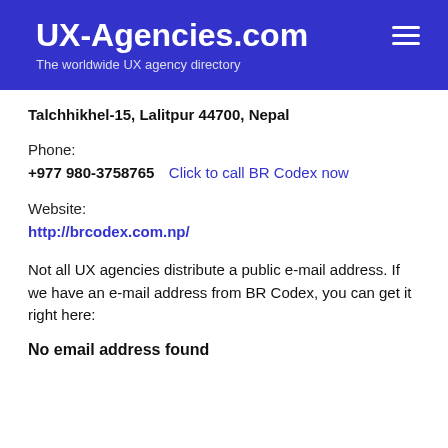UX-Agencies.com
The worldwide UX agency directory
Talchhikhel-15, Lalitpur 44700, Nepal
Phone:
+977 980-3758765  Click to call BR Codex now
Website:
http://brcodex.com.np/
Not all UX agencies distribute a public e-mail address. If we have an e-mail address from BR Codex, you can get it right here:
No email address found